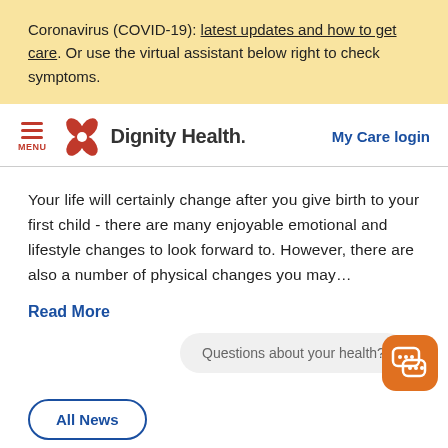Coronavirus (COVID-19): latest updates and how to get care. Or use the virtual assistant below right to check symptoms.
[Figure (logo): Dignity Health logo with orange flower/butterfly icon and bold text 'Dignity Health.']
My Care login
Your life will certainly change after you give birth to your first child - there are many enjoyable emotional and lifestyle changes to look forward to. However, there are also a number of physical changes you may…
Read More
Questions about your health?
All News